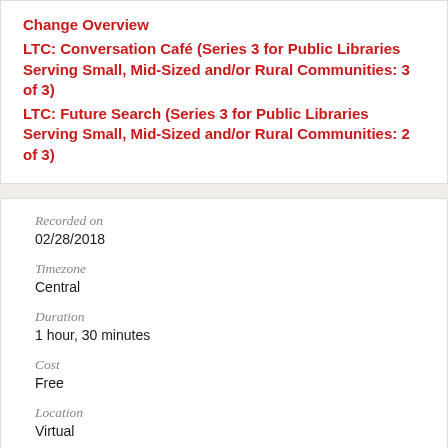Change Overview
LTC: Conversation Café (Series 3 for Public Libraries Serving Small, Mid-Sized and/or Rural Communities: 3 of 3)
LTC: Future Search (Series 3 for Public Libraries Serving Small, Mid-Sized and/or Rural Communities: 2 of 3)
Recorded on
02/28/2018
Timezone
Central
Duration
1 hour, 30 minutes
Cost
Free
Location
Virtual